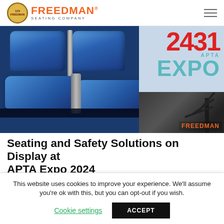FREEDMAN® SEATING COMPANY
[Figure (photo): Blue transit seating on display at APTA EXPO, with booth number 2431 overlaid in red text, APTA EXPO logo in teal, and FREEDMAN watermark. Background shows palm trees.]
Seating and Safety Solutions on Display at APTA Expo 2024
This website uses cookies to improve your experience. We'll assume you're ok with this, but you can opt-out if you wish.
Cookie settings  ACCEPT